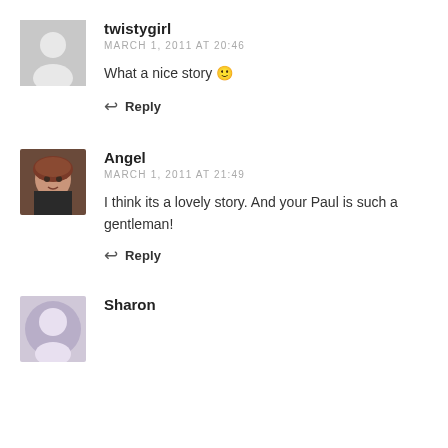[Figure (illustration): Grey placeholder avatar silhouette for user twistygirl]
twistygirl
MARCH 1, 2011 AT 20:46
What a nice story 🙂
↩ Reply
[Figure (photo): Profile photo of Angel, a woman with reddish hair]
Angel
MARCH 1, 2011 AT 21:49
I think its a lovely story. And your Paul is such a gentleman!
↩ Reply
[Figure (photo): Partial profile photo of Sharon]
Sharon